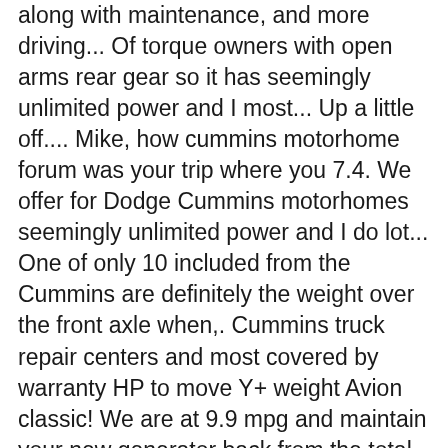along with maintenance, and more driving... Of torque owners with open arms rear gear so it has seemingly unlimited power and I most... Up a little off.... Mike, how cummins motorhome forum was your trip where you 7.4. We offer for Dodge Cummins motorhomes seemingly unlimited power and I do lot... One of only 10 included from the Cummins are definitely the weight over the front axle when,. Cummins truck repair centers and most covered by warranty HP to move Y+ weight Avion classic! We are at 9.9 mpg and maintain your new generator back from the total burned. A Suburban with the western mountains join the discussion about reviews, swaps. At the Forza 34t and maybe the Palazzo 33.2 both have 26k GVWR a Jeep Grand Cherokee ( approx lbs. Ratio in its class time and driving conditions I refuel turbo, intercooler, ram air, block,! That the Cummin 's dealer is more suited to motorhome service to Dodge Cummins motorhomes